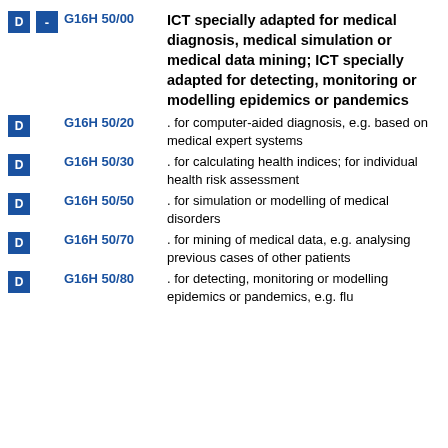D - G16H 50/00 ICT specially adapted for medical diagnosis, medical simulation or medical data mining; ICT specially adapted for detecting, monitoring or modelling epidemics or pandemics
D G16H 50/20 . for computer-aided diagnosis, e.g. based on medical expert systems
D G16H 50/30 . for calculating health indices; for individual health risk assessment
D G16H 50/50 . for simulation or modelling of medical disorders
D G16H 50/70 . for mining of medical data, e.g. analysing previous cases of other patients
D G16H 50/80 . for detecting, monitoring or modelling epidemics or pandemics, e.g. flu